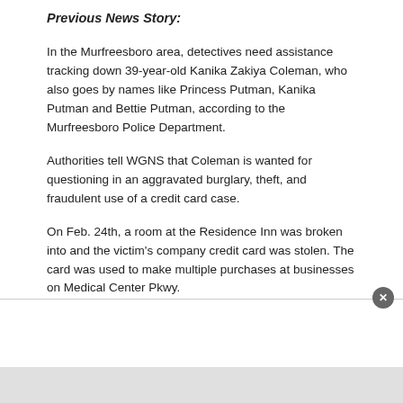Previous News Story:
In the Murfreesboro area, detectives need assistance tracking down 39-year-old Kanika Zakiya Coleman, who also goes by names like Princess Putman, Kanika Putman and Bettie Putman, according to the Murfreesboro Police Department.
Authorities tell WGNS that Coleman is wanted for questioning in an aggravated burglary, theft, and fraudulent use of a credit card case.
On Feb. 24th, a room at the Residence Inn was broken into and the victim's company credit card was stolen. The card was used to make multiple purchases at businesses on Medical Center Pkwy.